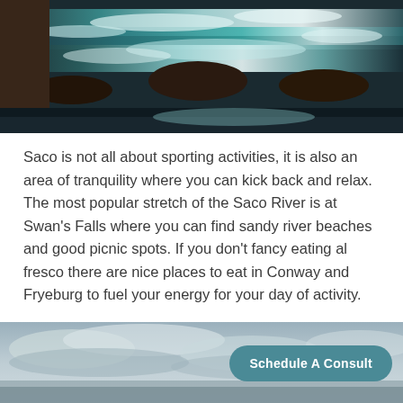[Figure (photo): Aerial or close-up view of rushing white water rapids over dark rocks, with blue-teal water, taken from a stone ledge perspective.]
Saco is not all about sporting activities, it is also an area of tranquility where you can kick back and relax. The most popular stretch of the Saco River is at Swan’s Falls where you can find sandy river beaches and good picnic spots. If you don’t fancy eating al fresco there are nice places to eat in Conway and Fryeburg to fuel your energy for your day of activity.
[Figure (photo): Scenic landscape photo with cloudy sky and natural scenery, with a teal rounded-rectangle button overlaid reading 'Schedule A Consult'.]